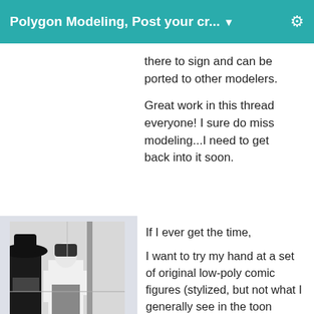Polygon Modeling, Post your cr... ▼
there to sign and can be ported to other modelers.

Great work in this thread everyone! I sure do miss modeling...I need to get back into it soon.
[Figure (illustration): Black and white manga/comic style illustration showing two figures, one wearing a wide-brimmed hat]
Diomede
Posts: 13,215
December 2013
If I ever get the time,

I want to try my hand at a set of original low-poly comic figures (stylized, but not what I generally see in the toon category). Eventually, I want 11 rigged figures for the cast of my projects. The 2 lead actors (a heroic proportioned man